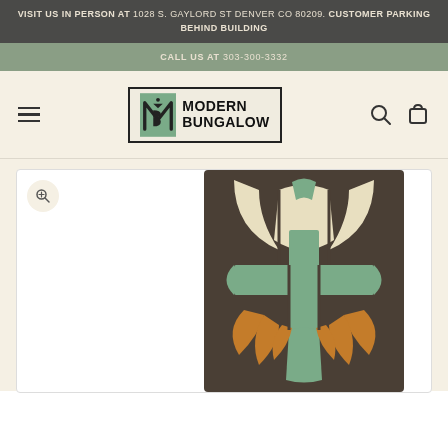VISIT US IN PERSON AT 1028 S. GAYLORD ST DENVER CO 80209. CUSTOMER PARKING BEHIND BUILDING
CALL US AT 303-300-3332
[Figure (logo): Modern Bungalow logo with stylized MB monogram in Art Nouveau style, green and black color scheme]
[Figure (photo): Arts and Crafts style decorative ceramic tile featuring an abstract floral/botanical design with cream, sage green, and amber/orange glazed sections on a dark brown background]